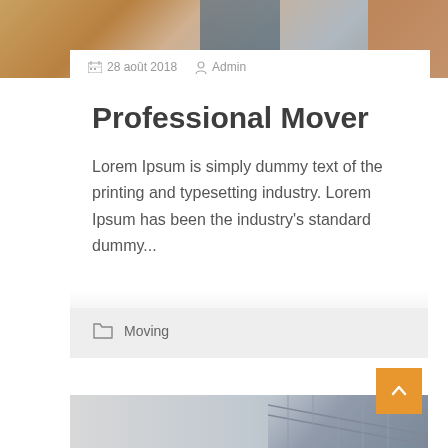[Figure (photo): Top portion of a photo showing a person and warm-toned background, partially cropped at the top of the page]
28 août 2018   Admin
Professional Mover
Lorem Ipsum is simply dummy text of the printing and typesetting industry. Lorem Ipsum has been the industry's standard dummy...
Moving
[Figure (photo): Bottom portion of the page showing a staircase with ornate railing, partially visible]